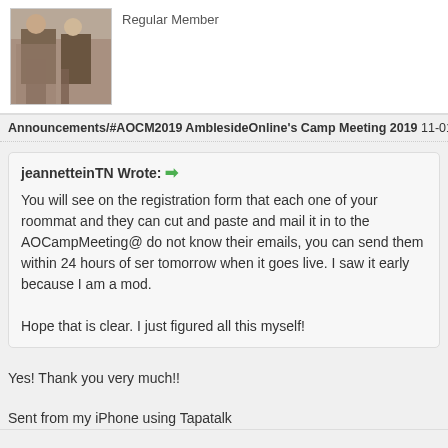[Figure (photo): User avatar photo showing two people, brownish tones]
Regular Member
Announcements/#AOCM2019 AmblesideOnline's Camp Meeting 2019 11-01-2018,
jeannetteinTN Wrote: →

You will see on the registration form that each one of your roommat and they can cut and paste and mail it in to the AOCampMeeting@ do not know their emails, you can send them within 24 hours of ser tomorrow when it goes live. I saw it early because I am a mod.

Hope that is clear. I just figured all this myself!
Yes! Thank you very much!!
Sent from my iPhone using Tapatalk